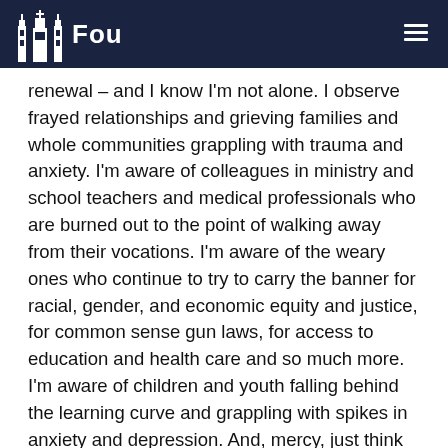Fou
renewal – and I know I'm not alone. I observe frayed relationships and grieving families and whole communities grappling with trauma and anxiety. I'm aware of colleagues in ministry and school teachers and medical professionals who are burned out to the point of walking away from their vocations. I'm aware of the weary ones who continue to try to carry the banner for racial, gender, and economic equity and justice, for common sense gun laws, for access to education and health care and so much more. I'm aware of children and youth falling behind the learning curve and grappling with spikes in anxiety and depression. And, mercy, just think of the communities destroyed in minutes from tornadoes this week and all those still recovering from fires,